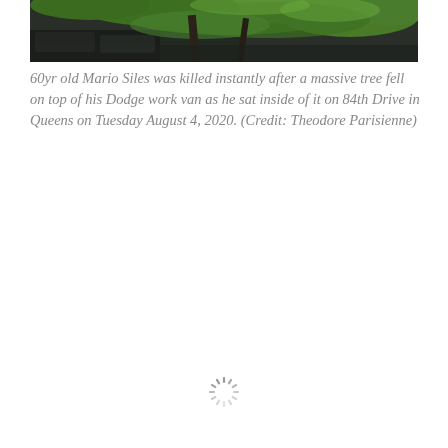[Figure (photo): Photo of a large tree fallen on top of a dark vehicle (Dodge work van), with green foliage visible and cars in the background.]
60yr old Mario Siles was killed instantly after a massive tree fell on top of his Dodge work van as he sat inside of it on 84th Drive in Queens on Tuesday August 4, 2020. (Credit: Theodore Parisienne)
[Figure (other): Loading spinner icon (circular dashed spinner indicating content is loading)]